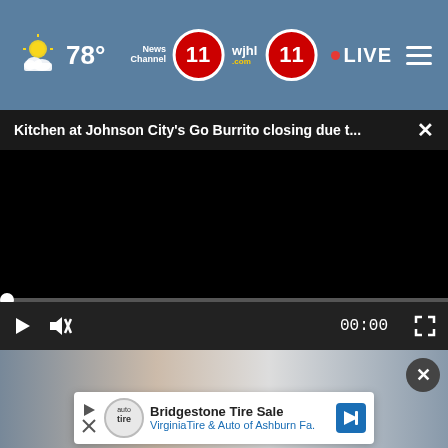78° News Channel 11 wjhl.com 11 • LIVE
Kitchen at Johnson City's Go Burrito closing due t... ×
[Figure (screenshot): Black video player with progress bar at bottom, showing 00:00 timestamp, play button, mute button, and fullscreen button on dark control bar]
[Figure (photo): Partial photo of two people, a blonde woman and another person, partially obscured by ad overlay]
Bridgestone Tire Sale
VirginiaTire & Auto of Ashburn Fa.